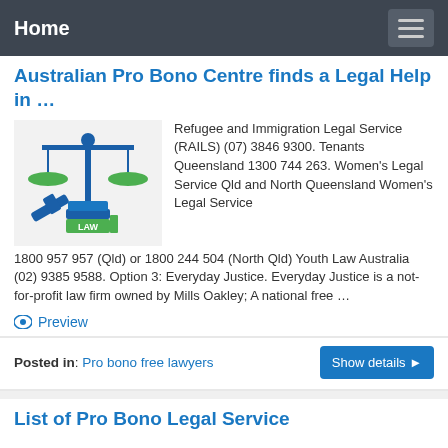Home
Australian Pro Bono Centre finds a Legal Help in ...
[Figure (illustration): Scales of justice icon with gavel and law books, blue and green colors]
Refugee and Immigration Legal Service (RAILS) (07) 3846 9300. Tenants Queensland 1300 744 263. Women's Legal Service Qld and North Queensland Women's Legal Service 1800 957 957 (Qld) or 1800 244 504 (North Qld) Youth Law Australia (02) 9385 9588. Option 3: Everyday Justice. Everyday Justice is a not-for-profit law firm owned by Mills Oakley; A national free …
Preview
Posted in: Pro bono free lawyers
List of Pro Bono Legal Service